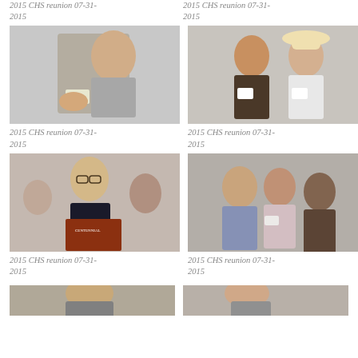2015 CHS reunion 07-31-2015
2015 CHS reunion 07-31-2015
[Figure (photo): Man in grey polo shirt with name tag, smiling and gesturing at a gathering/reunion event]
2015 CHS reunion 07-31-2015
[Figure (photo): Two men posing together, one wearing a cowboy hat and white shirt with name tag, at a reunion event]
2015 CHS reunion 07-31-2015
[Figure (photo): Woman with glasses and short blonde hair holding a Centennial book at a crowded reunion event]
2015 CHS reunion 07-31-2015
[Figure (photo): Group of women smiling at a reunion event, crowded room in background]
2015 CHS reunion 07-31-2015
[Figure (photo): Partial photo at bottom left, reunion event]
[Figure (photo): Partial photo at bottom right, reunion event]